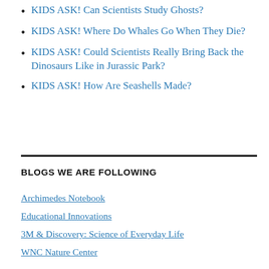KIDS ASK! Can Scientists Study Ghosts?
KIDS ASK! Where Do Whales Go When They Die?
KIDS ASK! Could Scientists Really Bring Back the Dinosaurs Like in Jurassic Park?
KIDS ASK! How Are Seashells Made?
BLOGS WE ARE FOLLOWING
Archimedes Notebook
Educational Innovations
3M & Discovery: Science of Everyday Life
WNC Nature Center